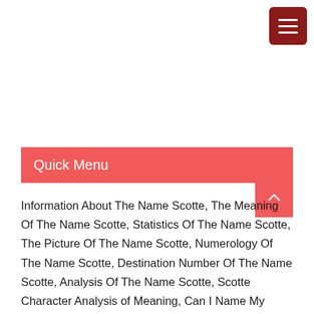[Figure (other): Hamburger menu button icon — dark red rounded square with three white horizontal lines]
Quick Menu
[Figure (other): Back-to-top arrow button — salmon/red square with white upward chevron]
Information About The Name Scotte, The Meaning Of The Name Scotte, Statistics Of The Name Scotte, The Picture Of The Name Scotte, Numerology Of The Name Scotte, Destination Number Of The Name Scotte, Analysis Of The Name Scotte, Scotte Character Analysis of Meaning, Can I Name My Baby Scotte?, List Of Celebrities With First Name Scotte, Scotte in Arabic Writing, Scotte in Chinese Characters, Scotte in Egyptian